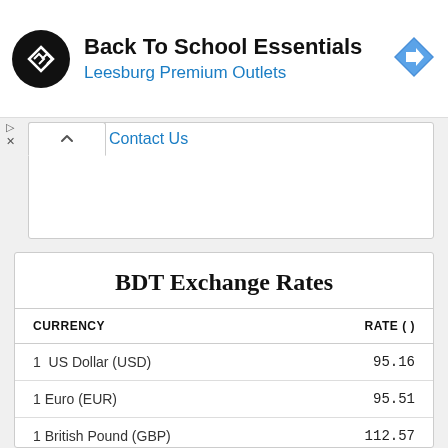[Figure (other): Advertisement banner for Back To School Essentials at Leesburg Premium Outlets with circular logo and blue diamond arrow icon]
Contact Us
BDT Exchange Rates
| CURRENCY | RATE ( ) |
| --- | --- |
| 1  US Dollar (USD) | 95.16 |
| 1 Euro (EUR) | 95.51 |
| 1 British Pound (GBP) | 112.57 |